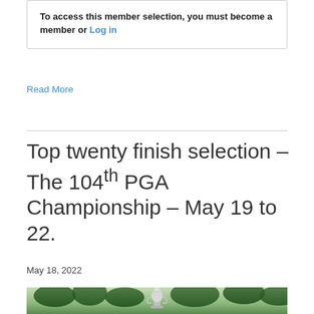To access this member selection, you must become a member or Log in
Read More
Top twenty finish selection – The 104th PGA Championship – May 19 to 22.
May 18, 2022
[Figure (photo): PGA Championship trophy on a golf course with green trees in the background]